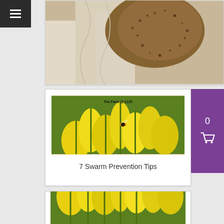[Figure (photo): Person in white beekeeping suit holding a swarm of bees]
7 Swarm Prevention Tips
[Figure (photo): Yellow goldenrod flowers with a bee, watermarked 'The Farm @ 1115']